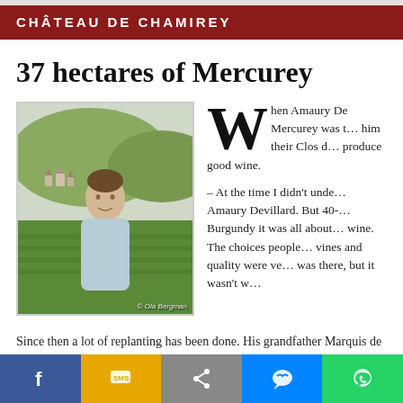CHÂTEAU DE CHAMIREY
37 hectares of Mercurey
[Figure (photo): A man in a light blue shirt standing in front of green vineyard hills and a village in the background. Photo credit: © Ola Bergman]
When Amaury De Mercurey was t... him their Clos d... produce good wine.
– At the time I didn't unde... Amaury Devillard. But 40- Burgundy it was all about wine. The choices people vines and quality were ve... was there, but it wasn't w...
Since then a lot of replanting has been done. His grandfather Marquis de Jouennes put in a huge effort, both in Clos du Roi and in the other vineyards of the estate.